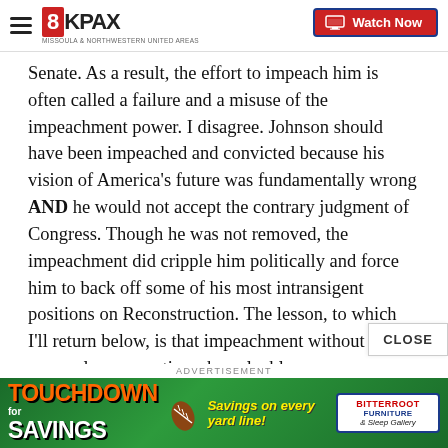8KPAX — Watch Now
Senate. As a result, the effort to impeach him is often called a failure and a misuse of the impeachment power. I disagree. Johnson should have been impeached and convicted because his vision of America's future was fundamentally wrong AND he would not accept the contrary judgment of Congress. Though he was not removed, the impeachment did cripple him politically and force him to back off some of his most intransigent positions on Reconstruction. The lesson, to which I'll return below, is that impeachment without removal can sometimes be valuable.
ADVERTISEMENT
[Figure (photo): Touchdown Savings advertisement banner with football imagery and Bitterroot logo]